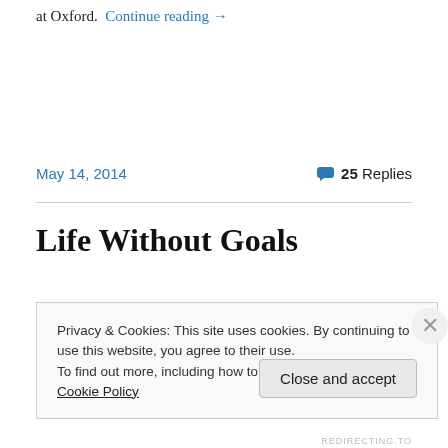at Oxford. Continue reading →
May 14, 2014
💬 25 Replies
Life Without Goals
Privacy & Cookies: This site uses cookies. By continuing to use this website, you agree to their use.
To find out more, including how to control cookies, see here: Cookie Policy
Close and accept